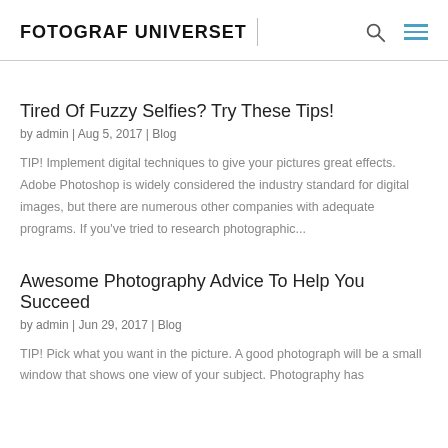FOTOGRAF UNIVERSET
Tired Of Fuzzy Selfies? Try These Tips!
by admin | Aug 5, 2017 | Blog
TIP! Implement digital techniques to give your pictures great effects. Adobe Photoshop is widely considered the industry standard for digital images, but there are numerous other companies with adequate programs. If you've tried to research photographic...
Awesome Photography Advice To Help You Succeed
by admin | Jun 29, 2017 | Blog
TIP! Pick what you want in the picture. A good photograph will be a small window that shows one view of your subject. Photography has